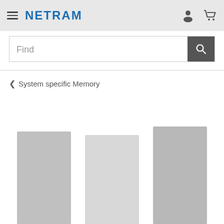NETRAM
Find
< System specific Memory
[Figure (other): Three partially visible product card thumbnails (gray rectangular blocks) arranged side by side, showing the tops of product listing cards on an e-commerce website.]